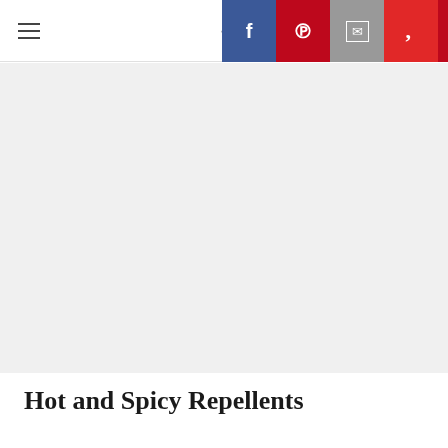Navigation bar with hamburger menu, back arrow, and social share buttons (Facebook, Pinterest, Email, Flipboard)
[Figure (photo): Large light gray image placeholder area below navigation bar]
Hot and Spicy Repellents